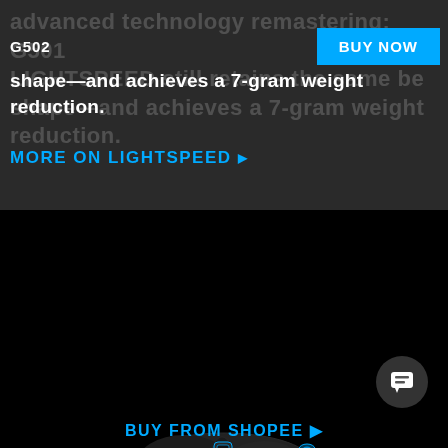G502
advanced technology remastering: G501 LIGHTSPEED still retains the same beloved shape—and achieves a 7-gram weight reduction.
MORE ON LIGHTSPEED ▶
[Figure (photo): Exploded-view product photo of the Logitech G502 LIGHTSPEED gaming mouse shown from above assembled, and below disassembled showing internal components including sensor, PCB, and mechanical parts, against a black background.]
BUY FROM SHOPEE ▶